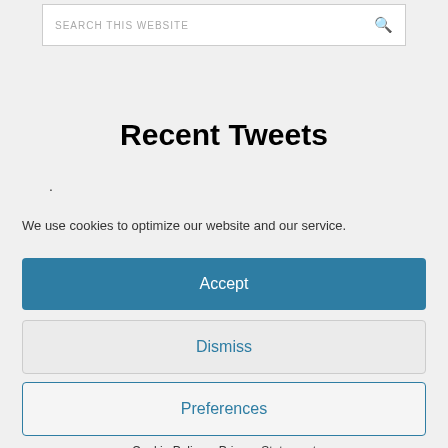[Figure (screenshot): Search bar with placeholder text 'SEARCH THIS WEBSITE' and a search icon on the right]
Recent Tweets
.
We use cookies to optimize our website and our service.
Accept
Dismiss
Preferences
Cookie Policy  Privacy Statement